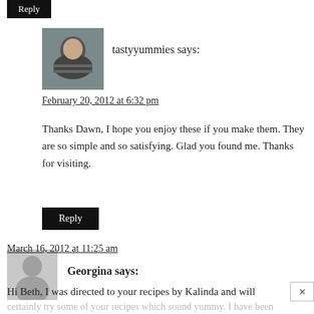Reply
tastyyummies says:
February 20, 2012 at 6:32 pm
Thanks Dawn, I hope you enjoy these if you make them. They are so simple and so satisfying. Glad you found me. Thanks for visiting.
Reply
Georgina says:
March 16, 2012 at 11:25 am
Hi Beth, I was directed to your recipes by Kalinda and will certainly try some of your recipes which sound yummy. I have been diagnosed with Coeliac disease over 30 years